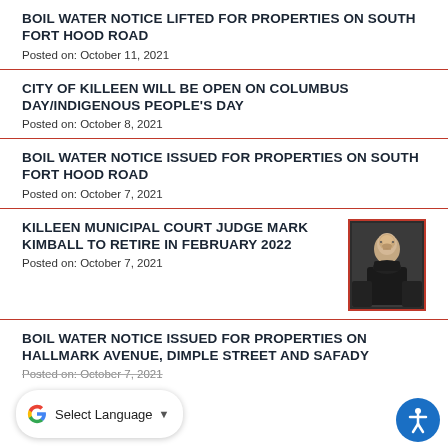BOIL WATER NOTICE LIFTED FOR PROPERTIES ON SOUTH FORT HOOD ROAD
Posted on: October 11, 2021
CITY OF KILLEEN WILL BE OPEN ON COLUMBUS DAY/INDIGENOUS PEOPLE'S DAY
Posted on: October 8, 2021
BOIL WATER NOTICE ISSUED FOR PROPERTIES ON SOUTH FORT HOOD ROAD
Posted on: October 7, 2021
KILLEEN MUNICIPAL COURT JUDGE MARK KIMBALL TO RETIRE IN FEBRUARY 2022
Posted on: October 7, 2021
[Figure (photo): Portrait photo of Judge Mark Kimball in black judicial robes]
BOIL WATER NOTICE ISSUED FOR PROPERTIES ON HALLMARK AVENUE, DIMPLE STREET AND SAFADY
Posted on: October 7, 2021